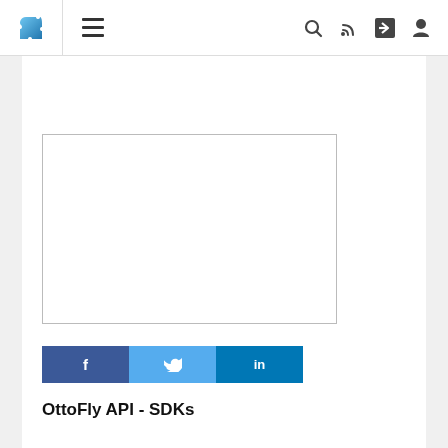[Figure (screenshot): Website navigation bar with puzzle-piece logo, hamburger menu, search, RSS, share, and user icons]
[Figure (other): Empty white advertisement placeholder box with gray border]
[Figure (infographic): Social share buttons: Facebook (f), Twitter (bird), LinkedIn (in)]
OttoFly API - SDKs